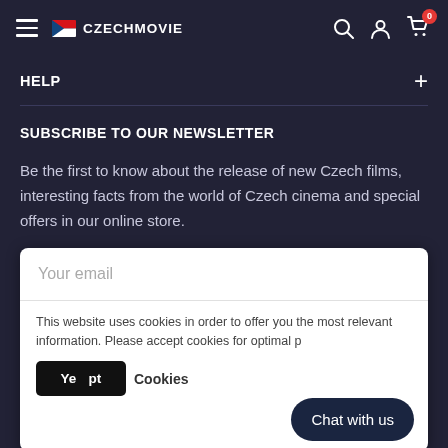CZECHMOVIE — navigation header with hamburger menu, search, account, and cart (0 items)
HELP
SUBSCRIBE TO OUR NEWSLETTER
Be the first to know about the release of new Czech films, interesting facts from the world of Czech cinema and special offers in our online store.
Your email
This website uses cookies in order to offer you the most relevant information. Please accept cookies for optimal p...
Chat with us
USD
Follow Us